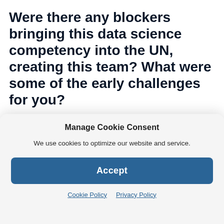Were there any blockers bringing this data science competency into the UN, creating this team? What were some of the early challenges for you?
We've been fortunate in a number of ways. First of all, the nature of work at the United Nations is already aligned with social
Manage Cookie Consent
We use cookies to optimize our website and service.
Accept
Cookie Policy  Privacy Policy